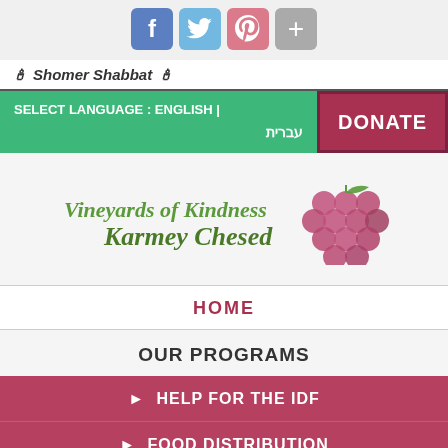[Figure (screenshot): Social media share icons: Facebook (blue), Twitter (light blue), Pinterest (pink/red), Plus/share (gray)]
🕯 Shomer Shabbat 🕯
SELECT LANGUAGE : ENGLISH | עברית
DONATE
[Figure (logo): Vineyards of Kindness Karmey Chesed logo with grape cluster illustration]
HOME
OUR PROGRAMS
► HELP FOR THE IDF
► FOOD DISTRIBUTION
► CLOTHING DISTRIBUTION
► EMERGENCY PRESCRIPTION DRUGS